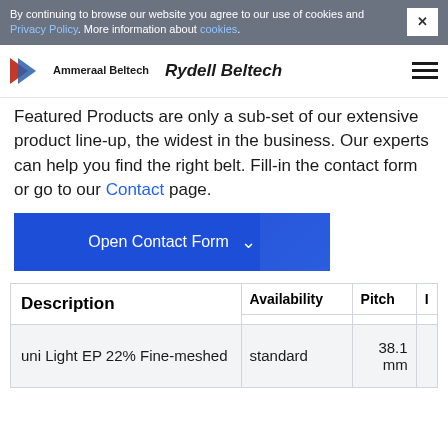By continuing to browse our website you agree to our use of cookies and Privacy Policy. More information about cookies.
Ammeraal Beltech | Rydell Beltech
Featured Products are only a sub-set of our extensive product line-up, the widest in the business. Our experts can help you find the right belt. Fill-in the contact form or go to our Contact page.
Open Contact Form
| Description | Availability | Pitch |  |
| --- | --- | --- | --- |
| uni Light EP 22% Fine-meshed | standard | 38.1 mm |  |